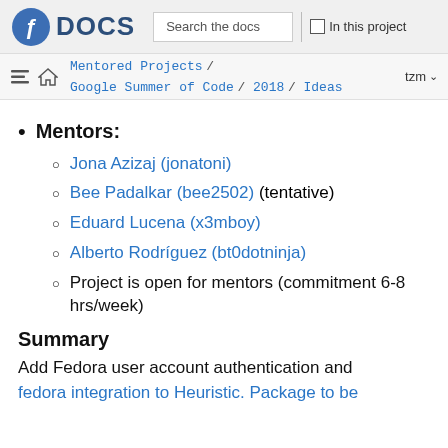Fedora DOCS — Search the docs | In this project
Mentored Projects / Google Summer of Code / 2018 / Ideas — tzm
Mentors:
Jona Azizaj (jonatoni)
Bee Padalkar (bee2502) (tentative)
Eduard Lucena (x3mboy)
Alberto Rodríguez (bt0dotninja)
Project is open for mentors (commitment 6-8 hrs/week)
Summary
Add Fedora user account authentication and fedora integration to Heuristic. Package to be...